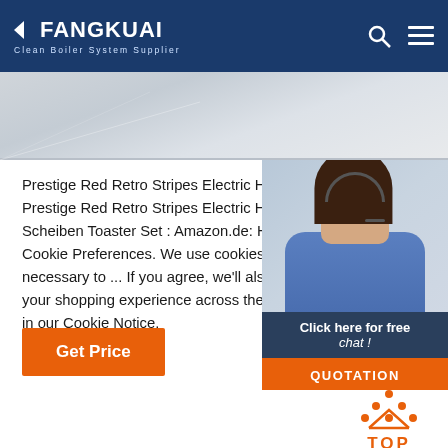FANGKUAI — Clean Boiler System Supplier
[Figure (photo): Gray hero banner image showing an indoor architectural space]
Prestige Red Retro Stripes Electric Hot Water Bo Prestige Red Retro Stripes Electric Hot Water Bo Scheiben Toaster Set : Amazon.de: Home & Kitch Cookie Preferences. We use cookies and similar necessary to ... If you agree, we'll also use cooki your shopping experience across the Amazon st in our Cookie Notice.
[Figure (photo): 24/7 Online widget showing a smiling woman with headset and a QUOTATION button]
Get Price
[Figure (illustration): TOP icon with orange dots arranged in triangle and TOP text in orange]
[Figure (photo): Bottom image strip showing industrial or architectural interior]